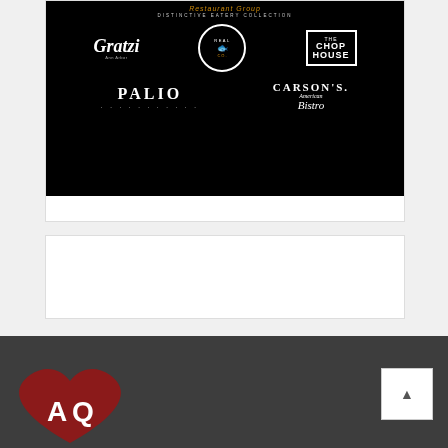[Figure (logo): Tomatoes Restaurant Group - Distinctive Eatery Collection logo banner on black background featuring: Gratzi (Ann Arbor), Real Seafood Co (circular badge), The Chop House (boxed logo), Palio (with dots), and Carson's American Bistro]
[Figure (other): Empty white card/panel]
[Figure (infographic): Dark gray footer area with a large dark red heart/logo mark on the left (letters A and Q visible) and a white scroll-to-top button with upward arrow on the right]